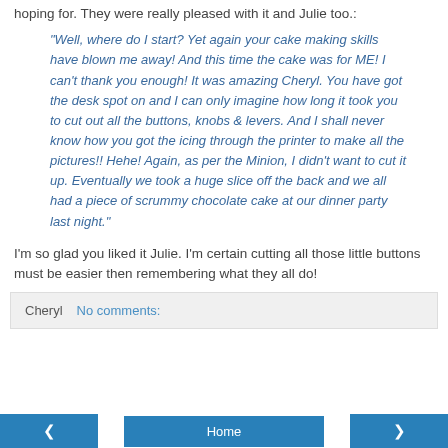hoping for. They were really pleased with it and Julie too.:
"Well, where do I start? Yet again your cake making skills have blown me away! And this time the cake was for ME! I can't thank you enough! It was amazing Cheryl. You have got the desk spot on and I can only imagine how long it took you to cut out all the buttons, knobs & levers. And I shall never know how you got the icing through the printer to make all the pictures!! Hehe! Again, as per the Minion, I didn't want to cut it up. Eventually we took a huge slice off the back and we all had a piece of scrummy chocolate cake at our dinner party last night."
I'm so glad you liked it Julie. I'm certain cutting all those little buttons must be easier then remembering what they all do!
Cheryl   No comments:
< Home >